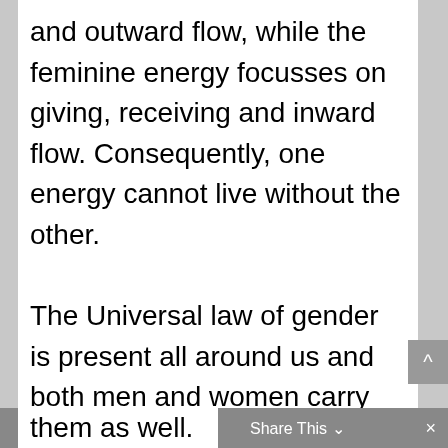and outward flow, while the feminine energy focusses on giving, receiving and inward flow. Consequently, one energy cannot live without the other.

The Universal law of gender is present all around us and both men and women carry both energies within them. However, females usually have more feminine energy, while men have more masculine energy. Nevertheless, both carry a little bit of the opposite energy in them as well.
them as well.   Share This   ×